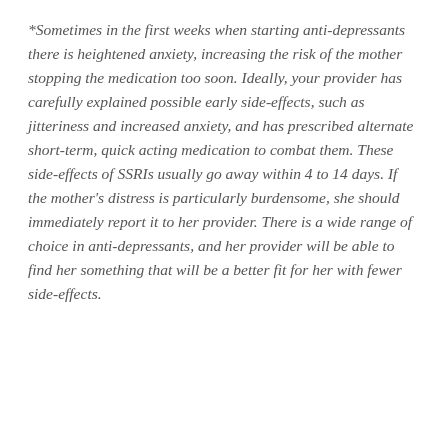*Sometimes in the first weeks when starting anti-depressants there is heightened anxiety, increasing the risk of the mother stopping the medication too soon. Ideally, your provider has carefully explained possible early side-effects, such as jitteriness and increased anxiety, and has prescribed alternate short-term, quick acting medication to combat them. These side-effects of SSRIs usually go away within 4 to 14 days. If the mother's distress is particularly burdensome, she should immediately report it to her provider. There is a wide range of choice in anti-depressants, and her provider will be able to find her something that will be a better fit for her with fewer side-effects.